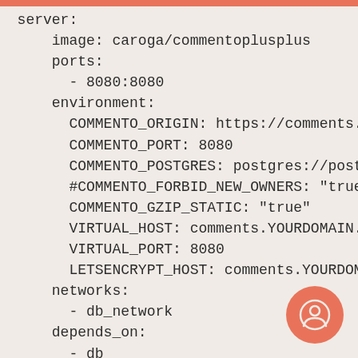server:
    image: caroga/commentoplusplus
    ports:
      - 8080:8080
    environment:
      COMMENTO_ORIGIN: https://comments.YO
      COMMENTO_PORT: 8080
      COMMENTO_POSTGRES: postgres://postg
      #COMMENTO_FORBID_NEW_OWNERS: "true"
      COMMENTO_GZIP_STATIC: "true"
      VIRTUAL_HOST: comments.YOURDOMAIN.o
      VIRTUAL_PORT: 8080
      LETSENCRYPT_HOST: comments.YOURDOMA
    networks:
      - db_network
    depends_on:
      - db
  db:
    image: postgres